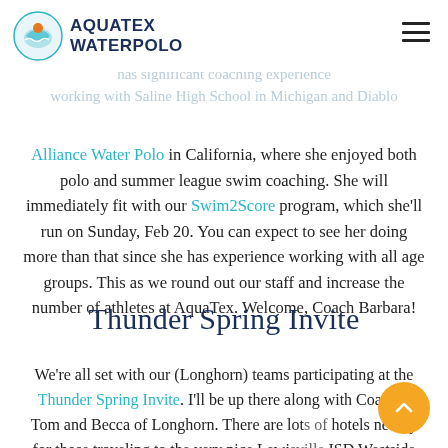AQUATEX WATERPOLO
the nation, and at Ventures High School in Southern [faded] ... has significant coaching experience working with Saline High School in Michigan and Diablo [faded]
Alliance Water Polo in California, where she enjoyed both polo and summer league swim coaching. She will immediately fit with our Swim2Score program, which she'll run on Sunday, Feb 20. You can expect to see her doing more than that since she has experience working with all age groups. This as we round out our staff and increase the number of athletes at AquaTex. Welcome, Coach Barbara!
Thunder Spring Invite
We're all set with our (Longhorn) teams participating at the Thunder Spring Invite. I'll be up there along with Coaches Tom and Becca of Longhorn. There are lots of hotels nearby for those traveling to the very nice Lewisville ISD Westside Aquatic Center. Feel free to use the GroupMe